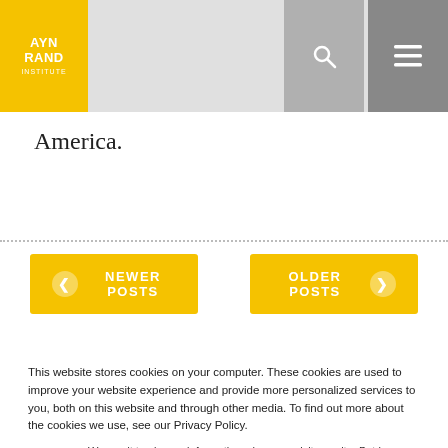Ayn Rand Institute
America.
NEWER POSTS
OLDER POSTS
This website stores cookies on your computer. These cookies are used to improve your website experience and provide more personalized services to you, both on this website and through other media. To find out more about the cookies we use, see our Privacy Policy.
We won't track your information when you visit our site. But in order to comply with your preferences, we'll have to use just one tiny cookie so that you're not asked to make this choice again.